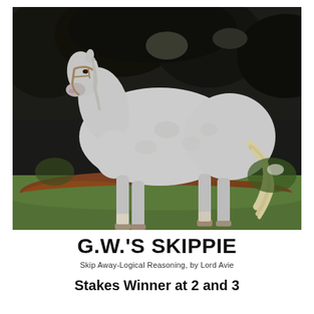[Figure (photo): A grey horse standing on green grass, facing left, with dark trees in the background and reddish-brown earth visible at the bottom. The horse is wearing a light brown halter.]
G.W.'S SKIPPIE
Skip Away-Logical Reasoning, by Lord Avie
Stakes Winner at 2 and 3